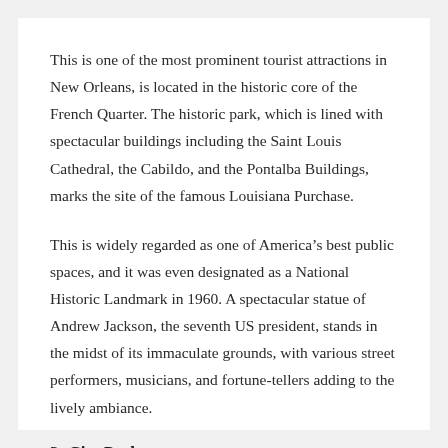This is one of the most prominent tourist attractions in New Orleans, is located in the historic core of the French Quarter. The historic park, which is lined with spectacular buildings including the Saint Louis Cathedral, the Cabildo, and the Pontalba Buildings, marks the site of the famous Louisiana Purchase.
This is widely regarded as one of America's best public spaces, and it was even designated as a National Historic Landmark in 1960. A spectacular statue of Andrew Jackson, the seventh US president, stands in the midst of its immaculate grounds, with various street performers, musicians, and fortune-tellers adding to the lively ambiance.
3: City Park